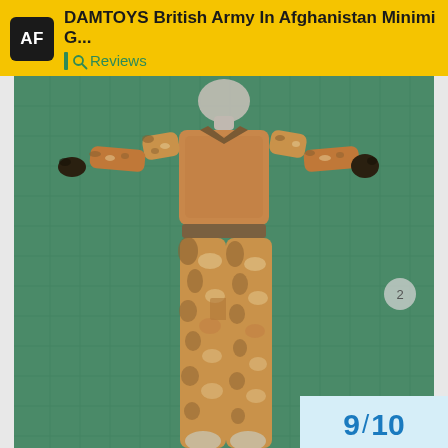DAMTOYS British Army In Afghanistan Minimi G... | Reviews
[Figure (photo): Action figure of a British Army soldier in desert DPM camouflage uniform laid flat on a green cutting mat. The figure is headless/unequipped, wearing camouflage trousers and jacket with a tan undershirt, black gloves. A small circle with '2' appears on the right side of the image.]
9 / 10